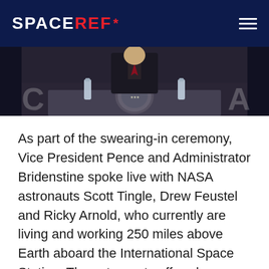SPACEREF*
[Figure (photo): A person in a dark suit stands at a podium with the Presidential seal, with water bottles on either side, photographed from below at a ceremony.]
As part of the swearing-in ceremony, Vice President Pence and Administrator Bridenstine spoke live with NASA astronauts Scott Tingle, Drew Feustel and Ricky Arnold, who currently are living and working 250 miles above Earth aboard the International Space Station. The astronauts offered congratulations and shared stories of their experiences on the orbiting laboratory.